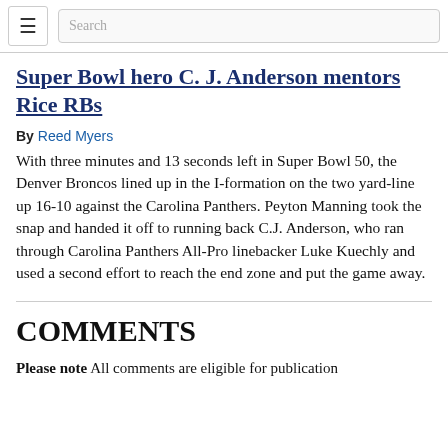☰  Search
Super Bowl hero C. J. Anderson mentors Rice RBs
By Reed Myers
With three minutes and 13 seconds left in Super Bowl 50, the Denver Broncos lined up in the I-formation on the two yard-line up 16-10 against the Carolina Panthers. Peyton Manning took the snap and handed it off to running back C.J. Anderson, who ran through Carolina Panthers All-Pro linebacker Luke Kuechly and used a second effort to reach the end zone and put the game away.
COMMENTS
Please note All comments are eligible for publication